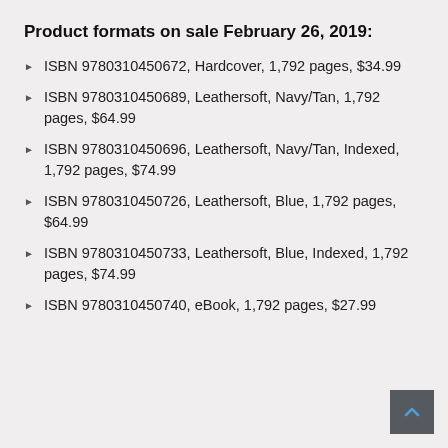Product formats on sale February 26, 2019:
ISBN 9780310450672, Hardcover, 1,792 pages, $34.99
ISBN 9780310450689, Leathersoft, Navy/Tan, 1,792 pages, $64.99
ISBN 9780310450696, Leathersoft, Navy/Tan, Indexed, 1,792 pages, $74.99
ISBN 9780310450726, Leathersoft, Blue, 1,792 pages, $64.99
ISBN 9780310450733, Leathersoft, Blue, Indexed, 1,792 pages, $74.99
ISBN 9780310450740, eBook, 1,792 pages, $27.99